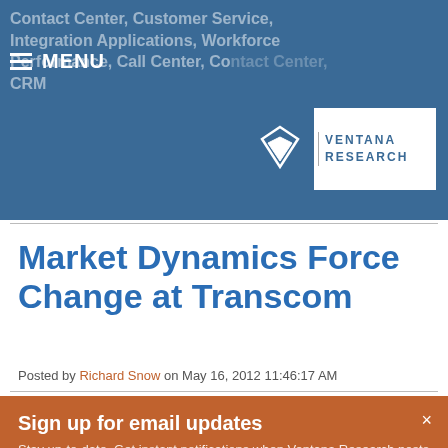Contact Center, Customer Service, Integration Applications, Workforce Performance, Call Center, Contact Center CRM
[Figure (logo): Ventana Research logo with V icon and text VENTANA RESEARCH]
Market Dynamics Force Change at Transcom
Posted by Richard Snow on May 16, 2012 11:46:17 AM
Sign up for email updates
Stay up-to-date. Get instant notifications when Ventana Research posts a new analyst perspective.
Subscribe now